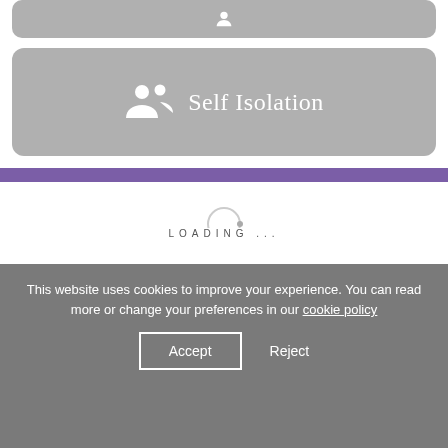[Figure (screenshot): Top grey rounded card with a small person/user icon in white]
[Figure (screenshot): Grey rounded card with two-person icon and text 'Self Isolation']
[Figure (illustration): Purple horizontal bar separator]
[Figure (illustration): Loading spinner circle icon on white background]
LOADING ...
This website uses cookies to improve your experience. You can read more or change your preferences in our cookie policy
Accept
Reject